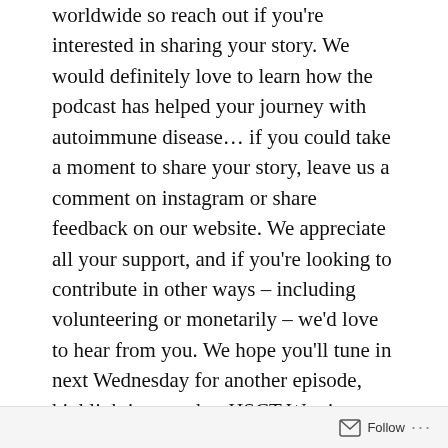worldwide so reach out if you're interested in sharing your story. We would definitely love to learn how the podcast has helped your journey with autoimmune disease… if you could take a moment to share your story, leave us a comment on instagram or share feedback on our website. We appreciate all your support, and if you're looking to contribute in other ways – including volunteering or monetarily – we'd love to hear from you. We hope you'll tune in next Wednesday for another episode, highlighting another HSCT Warrior. Until then, be a snowflake and embrace your superpowers. Be kind. Be well.
Follow